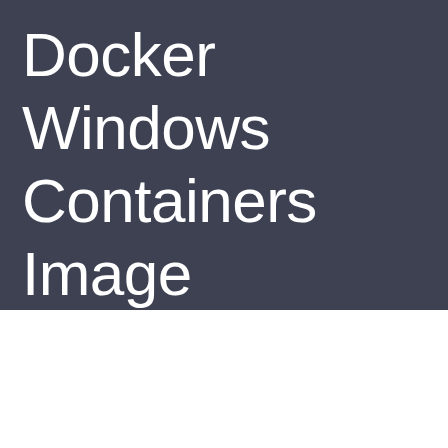Docker Windows Containers Image